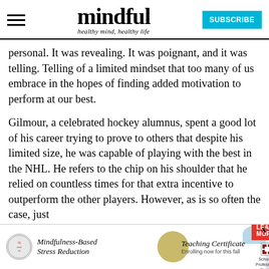mindful — healthy mind, healthy life [with SUBSCRIBE button]
personal. It was revealing. It was poignant, and it was telling. Telling of a limited mindset that too many of us embrace in the hopes of finding added motivation to perform at our best.
Gilmour, a celebrated hockey alumnus, spent a good lot of his career trying to prove to others that despite his limited size, he was capable of playing with the best in the NHL. He refers to the chip on his shoulder that he relied on countless times for that extra incentive to outperform the other players. However, as is so often the case, just
[Figure (advertisement): Mindfulness-Based Stress Reduction Teaching Certificate ad banner with yellow circle graphic, Learn More button, and School of Professional Studies logo]